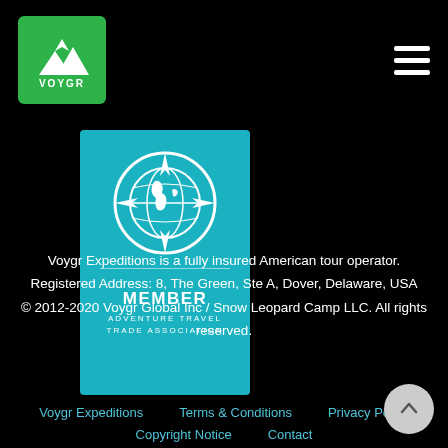[Figure (logo): Voygr logo — green square with mountain peaks and VOYGR text]
[Figure (logo): Adventure Travel Trade Association MEMBER badge in teal/cyan with globe compass icon]
Voygr Expeditions is a fully insured American tour operator. Registered Address: 8, The Green, Ste A, Dover, Delaware, USA © 2012-2020 Voygr Global Inc / Snow Leopard Camp LLC. All rights reserved.
Voygr Expeditions   Terms & Conditions   Privacy Policy   Copyright Notice   Contact